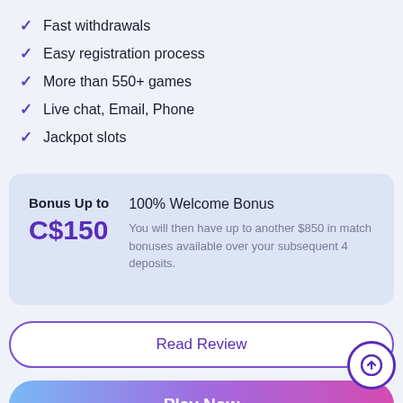Fast withdrawals
Easy registration process
More than 550+ games
Live chat, Email, Phone
Jackpot slots
Bonus Up to C$150 | 100% Welcome Bonus | You will then have up to another $850 in match bonuses available over your subsequent 4 deposits.
Read Review
Play Now